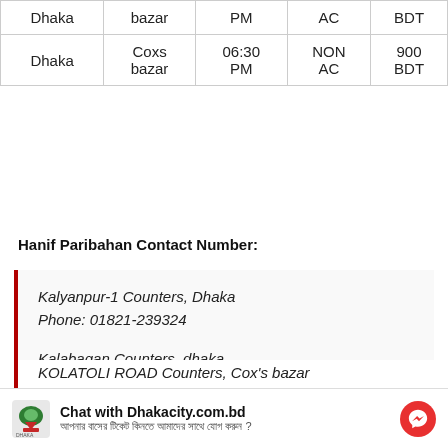| From | To | Time | Type | Fare |
| --- | --- | --- | --- | --- |
| Dhaka | Coxs bazar | PM | AC | BDT |
| Dhaka | Coxs bazar | 06:30 PM | NON AC | 900 BDT |
Hanif Paribahan Contact Number:
Kalyanpur-1 Counters, Dhaka
Phone: 01821-239324
Kalabagan Counters, dhaka
Phone: 01821-239324
Chittagong Counters, Chattogram
KOLATOLI ROAD Counters, Cox's bazar
Chat with Dhakacity.com.bd